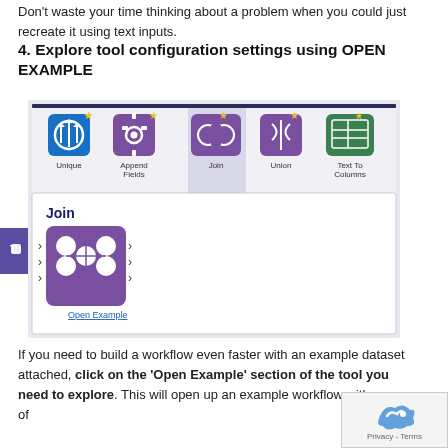Don't waste your time thinking about a problem when you could just recreate it using text inputs.
4. Explore tool configuration settings using OPEN EXAMPLE
[Figure (screenshot): Screenshot of Alteryx Designer toolbar showing tool icons (Unique, Append Fields, Join highlighted, Union, Text To Columns) with a tooltip popup for the Join tool showing a purple icon with circles connected, and the description: 'Combine two data streams based on common fields (or record position). In the joined output, each row will contain the data from both inputs.' with an 'Open Example' link below.]
If you need to build a workflow even faster with an example dataset attached, click on the ‘Open Example’ section of the tool you need to explore. This will open up an example workflow with some of